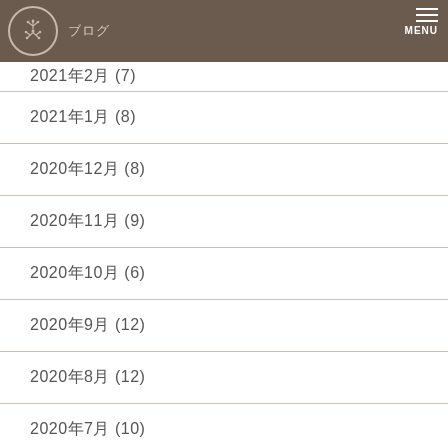ブログ / MENU
2021年2月 (7)
2021年1月 (8)
2020年12月 (8)
2020年11月 (9)
2020年10月 (6)
2020年9月 (12)
2020年8月 (12)
2020年7月 (10)
2020年6月 (11)
2020年5月 (11)
2020年4月 (13)